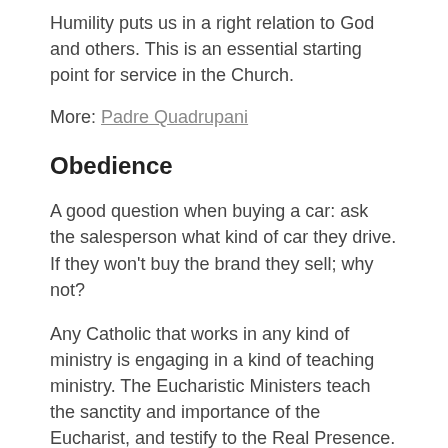Humility puts us in a right relation to God and others. This is an essential starting point for service in the Church.
More: Padre Quadrupani
Obedience
A good question when buying a car: ask the salesperson what kind of car they drive. If they won’t buy the brand they sell; why not?
Any Catholic that works in any kind of ministry is engaging in a kind of teaching ministry. The Eucharistic Ministers teach the sanctity and importance of the Eucharist, and testify to the Real Presence. Altar servers teach the sanctity of the Mass, as do the singers, altar society and ushers. Those that work to help the homeless or that protest abortion teach us about the sanctity of life. Every Christian action in ministry is the Church fulfilling